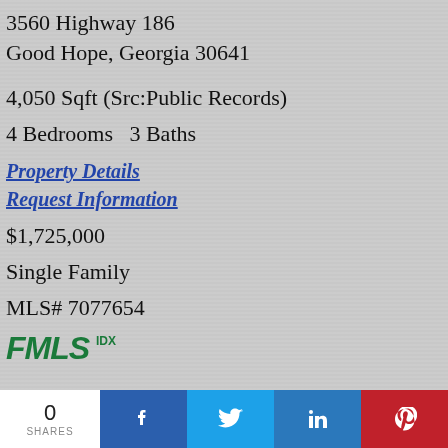3560 Highway 186
Good Hope, Georgia 30641
4,050 Sqft (Src:Public Records)
4 Bedrooms   3 Baths
Property Details
Request Information
$1,725,000
Single Family
MLS# 7077654
[Figure (logo): FMLS IDX logo in green italic bold font]
0 SHARES
[Figure (infographic): Social share bar with Facebook, Twitter, LinkedIn, Pinterest buttons]